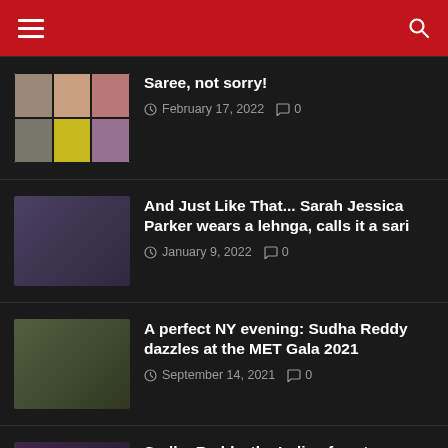Navigation header with hamburger menu and search icon
Saree, not sorry! — February 17, 2022 — 0 comments
And Just Like That... Sarah Jessica Parker wears a lehnga, calls it a sari — January 9, 2022 — 0 comments
A perfect NY evening: Sudha Reddy dazzles at the MET Gala 2021 — September 14, 2021 — 0 comments
Sudha Reddy, the Indian face to look out fo... the iconic Met Gala 2021 — September 12, 2021 — 0 comments